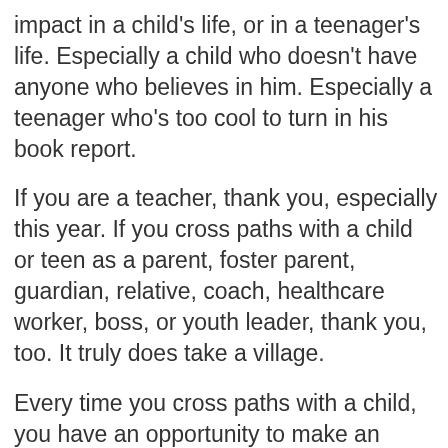impact in a child's life, or in a teenager's life. Especially a child who doesn't have anyone who believes in him. Especially a teenager who's too cool to turn in his book report.
If you are a teacher, thank you, especially this year. If you cross paths with a child or teen as a parent, foster parent, guardian, relative, coach, healthcare worker, boss, or youth leader, thank you, too. It truly does take a village.
Every time you cross paths with a child, you have an opportunity to make an impact, positive or negative, on his or her future. You plant a seed with each interaction, and the lessons they learn today will reap benefits in the adults of tomorrow.
Thank you for the lessons you've taught my own kids through the years. Know that when you